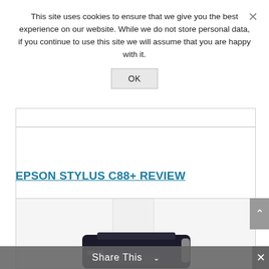This site uses cookies to ensure that we give you the best experience on our website. While we do not store personal data, if you continue to use this site we will assume that you are happy with it.
OK
EPSON STYLUS C88+ REVIEW
[Figure (photo): Photo of Epson Stylus C88+ printer with paper loaded, viewed from slight angle]
Share This